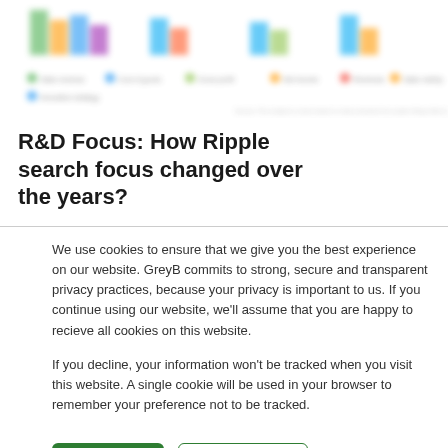[Figure (other): Blurred/obscured bar chart or grouped chart with colored legend items at the top of the page]
R&D Focus: How Ripple search focus changed over the years?
We use cookies to ensure that we give you the best experience on our website. GreyB commits to strong, secure and transparent privacy practices, because your privacy is important to us. If you continue using our website, we'll assume that you are happy to recieve all cookies on this website.
If you decline, your information won't be tracked when you visit this website. A single cookie will be used in your browser to remember your preference not to be tracked.